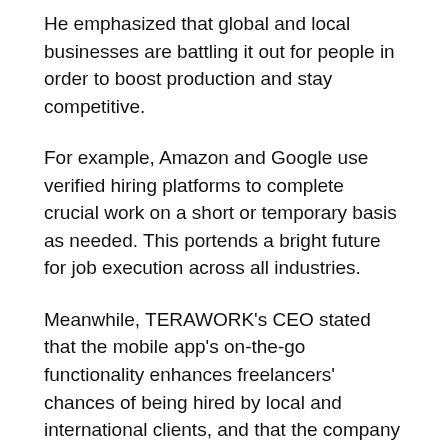He emphasized that global and local businesses are battling it out for people in order to boost production and stay competitive.
For example, Amazon and Google use verified hiring platforms to complete crucial work on a short or temporary basis as needed. This portends a bright future for job execution across all industries.
Meanwhile, TERAWORK's CEO stated that the mobile app's on-the-go functionality enhances freelancers' chances of being hired by local and international clients, and that the company believes Africa can be a global digital services powerhouse with billion-dollar potential for highly qualified freelancers.